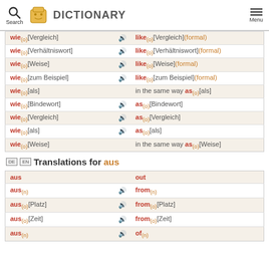Search | DICTIONARY | Menu
| German | Audio | English |  |
| --- | --- | --- | --- |
| wie(o)[Vergleich] | 🔊 | like(o)[Vergleich](formal) |  |
| wie(o)[Verhältniswort] | 🔊 | like(o)[Verhältniswort](formal) |  |
| wie(o)[Weise] | 🔊 | like(o)[Weise](formal) |  |
| wie(o)[zum Beispiel] | 🔊 | like(o)[zum Beispiel](formal) |  |
| wie(o)[als] |  | in the same way as(o)[als] |  |
| wie(o)[Bindewort] | 🔊 | as(o)[Bindewort] |  |
| wie(o)[Vergleich] | 🔊 | as(o)[Vergleich] |  |
| wie(o)[als] | 🔊 | as(o)[als] |  |
| wie(o)[Weise] |  | in the same way as(o)[Weise] |  |
DE EN Translations for aus
| German | Audio | English |  |
| --- | --- | --- | --- |
| aus |  | out |  |
| aus(n) | 🔊 | from(n) |  |
| aus(o)[Platz] | 🔊 | from(o)[Platz] |  |
| aus(o)[Zeit] | 🔊 | from(o)[Zeit] |  |
| aus(n) | 🔊 | of(n) |  |